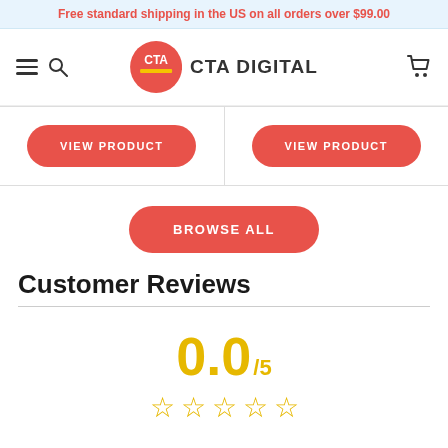Free standard shipping in the US on all orders over $99.00
[Figure (logo): CTA Digital logo with red circle and yellow accent, text reading CTA DIGITAL]
[Figure (other): Two VIEW PRODUCT buttons side by side in salmon/red rounded pill style]
[Figure (other): BROWSE ALL button in salmon/red rounded pill style]
Customer Reviews
0.0/5 with 5 empty stars rating display